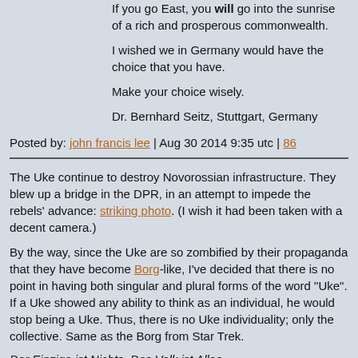If you go East, you will go into the sunrise of a rich and prosperous commonwealth.
I wished we in Germany would have the choice that you have.
Make your choice wisely.
Dr. Bernhard Seitz, Stuttgart, Germany
Posted by: john francis lee | Aug 30 2014 9:35 utc | 86
The Uke continue to destroy Novorossian infrastructure. They blew up a bridge in the DPR, in an attempt to impede the rebels' advance: striking photo. (I wish it had been taken with a decent camera.)
By the way, since the Uke are so zombified by their propaganda that they have become Borg-like, I've decided that there is no point in having both singular and plural forms of the word "Uke". If a Uke showed any ability to think as an individual, he would stop being a Uke. Thus, there is no Uke individuality; only the collective. Same as the Borg from Star Trek.
Der Einzige ist Nichts. Das Volk ist Alles.
Posted by: Demian | Aug 30 2014 11:36 utc | 87